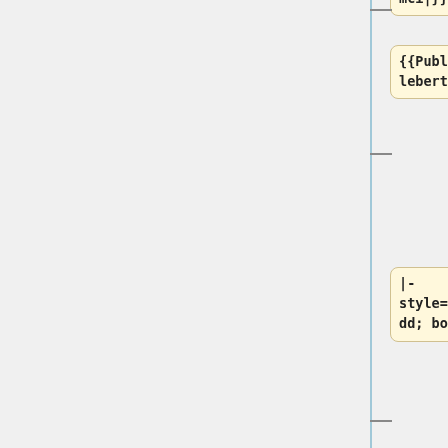[Figure (flowchart): Vertical flowchart/tree diagram with blue vertical connector line and horizontal dashes to code nodes. Nodes contain wiki template and CSS code snippets.]
mci|}}
{{Public Contact CT|Claude|Inglebert|INRIA Futurs|}}
|- style="background-color: #dddddd; border:1px solid #c9c9c9;"
| colspan="3"| '''[[:Category:Site_Nancy|Nancy]]'''
{{Public Contact CT|Emmanuel|Jeannot|LORIA|}}
{{Public Contact